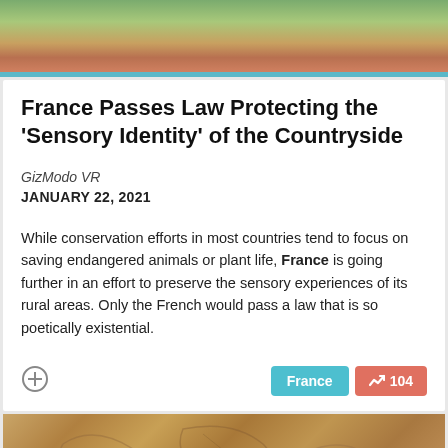[Figure (photo): Partial photo showing a person with red/auburn hair and red clothing against a green background, cropped at top of page]
France Passes Law Protecting the 'Sensory Identity' of the Countryside
GizModo VR
JANUARY 22, 2021
While conservation efforts in most countries tend to focus on saving endangered animals or plant life, France is going further in an effort to preserve the sensory experiences of its rural areas. Only the French would pass a law that is so poetically existential.
[Figure (photo): Partial photo showing a sandy/brown textured surface resembling cracked earth or fossil, with a teal bar visible at bottom center]